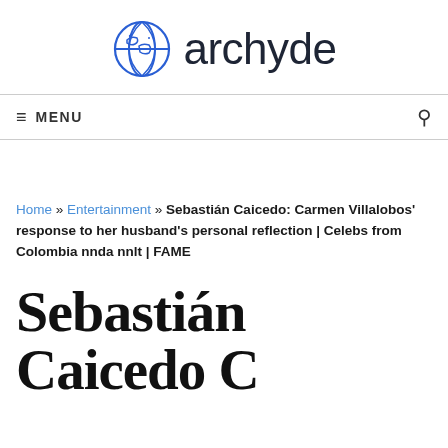archyde
≡ MENU
Home » Entertainment » Sebastián Caicedo: Carmen Villalobos' response to her husband's personal reflection | Celebs from Colombia nnda nnlt | FAME
Sebastián Caicedo C